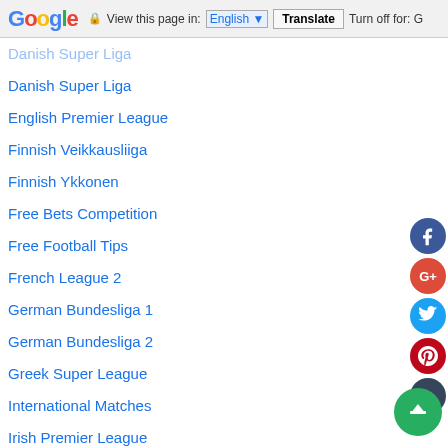Google | View this page in: English | Translate | Turn off for: G
Danish Super Liga
English Premier League
Finnish Veikkausliiga
Finnish Ykkonen
Free Bets Competition
Free Football Tips
French League 2
German Bundesliga 1
German Bundesliga 2
Greek Super League
International Matches
Irish Premier League
La Liga
National Team Of Greece
Norwegian Eliteserien
Norwegian Tippeligaen
Over 2.5 Goals
Over 2.5 Goals